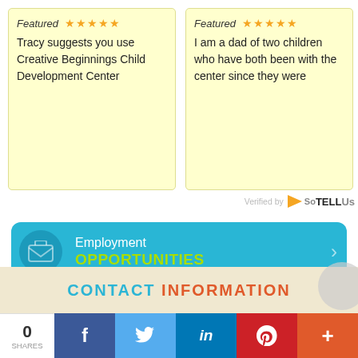Featured ★★★★★ Tracy suggests you use Creative Beginnings Child Development Center
Featured ★★★★★ I am a dad of two children who have both been with the center since they were
Verified by SoTellUs
[Figure (infographic): Employment Opportunities button with envelope icon and chevron arrow]
[Figure (infographic): Team Member Portal button with envelope icon and chevron arrow]
CONTACT INFORMATION
0 SHARES  f  t  in  P  +